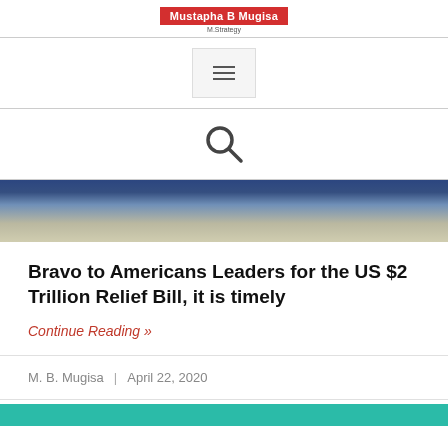Mustapha B Mugisa | M.Strategy
[Figure (other): Hamburger menu icon button]
[Figure (other): Search magnifying glass icon]
[Figure (photo): Cropped photo of a person at a desk, hands visible, blue suit, telephone in background]
Bravo to Americans Leaders for the US $2 Trillion Relief Bill, it is timely
Continue Reading »
M. B. Mugisa  |  April 22, 2020